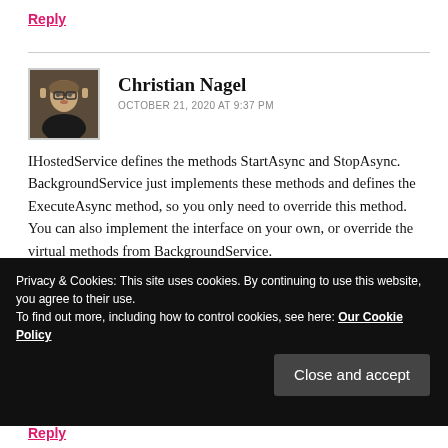Reply
[Figure (photo): Avatar photo of Christian Nagel, a person with glasses and light hair.]
Christian Nagel
OCTOBER 21, 2020 AT 9:37 PM
IHostedService defines the methods StartAsync and StopAsync. BackgroundService just implements these methods and defines the ExecuteAsync method, so you only need to override this method. You can also implement the interface on your own, or override the virtual methods from BackgroundService.
Privacy & Cookies: This site uses cookies. By continuing to use this website, you agree to their use.
To find out more, including how to control cookies, see here: Our Cookie Policy
Close and accept
Reply